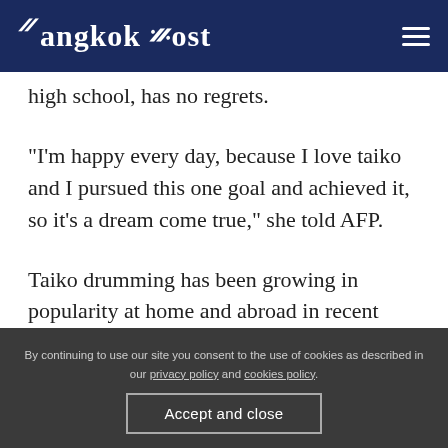Bangkok Post
high school, has no regrets.
"I'm happy every day, because I love taiko and I pursued this one goal and achieved it, so it's a dream come true," she told AFP.
Taiko drumming has been growing in popularity at home and abroad in recent years, with troupes established in Europe and the United States and...
By continuing to use our site you consent to the use of cookies as described in our privacy policy and cookies policy.
Accept and close